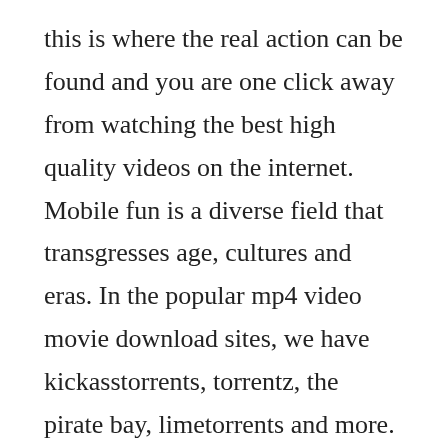this is where the real action can be found and you are one click away from watching the best high quality videos on the internet. Mobile fun is a diverse field that transgresses age, cultures and eras. In the popular mp4 video movie download sites, we have kickasstorrents, torrentz, the pirate bay, limetorrents and more.
Dose of cum for redhead and blonde anna thorne eporner. Desi kalakaar is finally here to give you the love dose in his own stylewatch the full video of the most awaited song of the